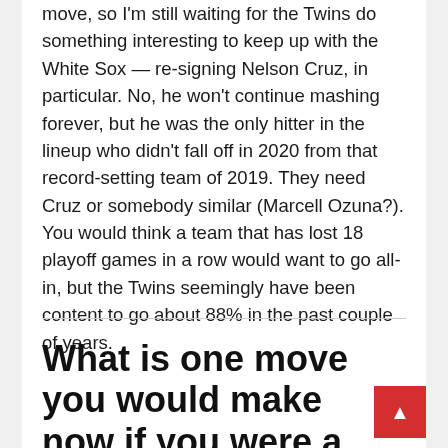move, so I'm still waiting for the Twins do something interesting to keep up with the White Sox — re-signing Nelson Cruz, in particular. No, he won't continue mashing forever, but he was the only hitter in the lineup who didn't fall off in 2020 from that record-setting team of 2019. They need Cruz or somebody similar (Marcell Ozuna?). You would think a team that has lost 18 playoff games in a row would want to go all-in, but the Twins seemingly have been content to go about 88% in the past couple of years.
What is one move you would make now if you were a GM?